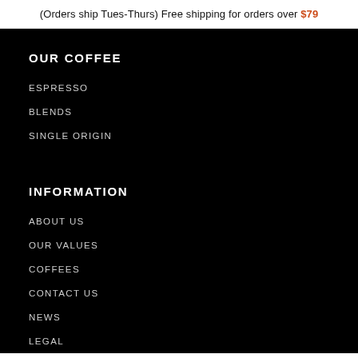(Orders ship Tues-Thurs) Free shipping for orders over $79
OUR COFFEE
ESPRESSO
BLENDS
SINGLE ORIGIN
INFORMATION
ABOUT US
OUR VALUES
COFFEES
CONTACT US
NEWS
LEGAL